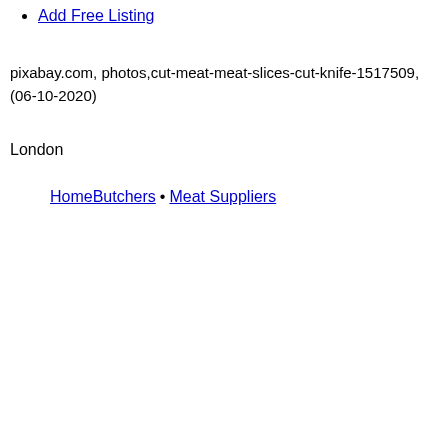Add Free Listing
pixabay.com, photos,cut-meat-meat-slices-cut-knife-1517509, (06-10-2020)
London
HomeButchers • Meat Suppliers